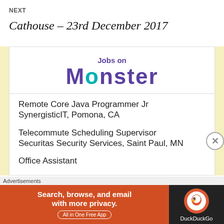NEXT
Cathouse – 23rd December 2017
[Figure (other): Jobs on Monster job listing widget showing job postings]
Remote Core Java Programmer Jr
SynergisticIT, Pomona, CA
Telecommute Scheduling Supervisor
Securitas Security Services, Saint Paul, MN
Office Assistant
Advertisements
[Figure (other): DuckDuckGo advertisement: Search, browse, and email with more privacy. All in One Free App]